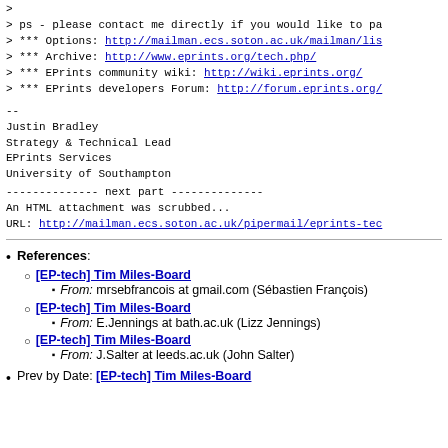>
> ps - please contact me directly if you would like to pa
> *** Options: http://mailman.ecs.soton.ac.uk/mailman/lis
> *** Archive: http://www.eprints.org/tech.php/
> *** EPrints community wiki: http://wiki.eprints.org/
> *** EPrints developers Forum: http://forum.eprints.org/
--
Justin Bradley
Strategy & Technical Lead
EPrints Services
University of Southampton
-------------- next part --------------
An HTML attachment was scrubbed...
URL: http://mailman.ecs.soton.ac.uk/pipermail/eprints-tec
References:
[EP-tech] Tim Miles-Board — From: mrsebfrancois at gmail.com (Sébastien François)
[EP-tech] Tim Miles-Board — From: E.Jennings at bath.ac.uk (Lizz Jennings)
[EP-tech] Tim Miles-Board — From: J.Salter at leeds.ac.uk (John Salter)
Prev by Date: [EP-tech] Tim Miles-Board